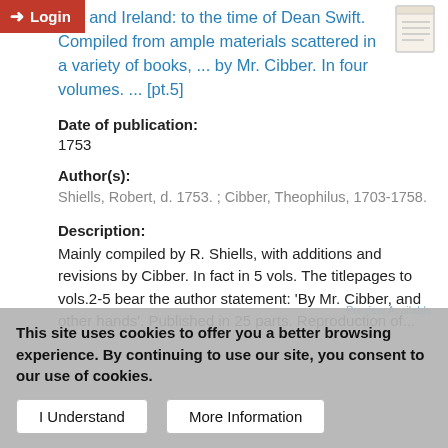tain and Ireland: to the time of Dean Swift. Compiled from ample materials scattered in a variety of books, ... by Mr. Cibber. In four volumes. ... [pt.5]
Date of publication:
1753
Author(s):
Shiells, Robert, d. 1753. ; Cibber, Theophilus, 1703-1758.
Description:
Mainly compiled by R. Shiells, with additions and revisions by Cibber. In fact in 5 vols. The titlepages to vols.2-5 bear the author statement: 'By Mr. Cibber, and other hands'. Published in 25 parts. Reproduction of...
This site uses cookies to offer you a better browsing experience. By continuing to use our site, you consent to our use of cookies.